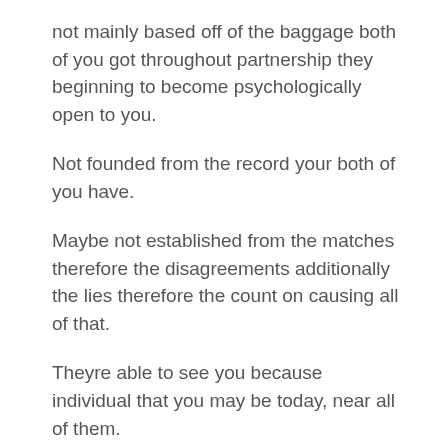not mainly based off of the baggage both of you got throughout partnership they beginning to become psychologically open to you.
Not founded from the record your both of you have.
Maybe not established from the matches therefore the disagreements additionally the lies therefore the count on causing all of that.
Theyre able to see you because individual that you may be today, near all of them.
Thats when your ex actually starts to become mentally accessible to you.
And thiss when they actually beginning to place the breakup to their rear.
This is and this if you would like to let to the